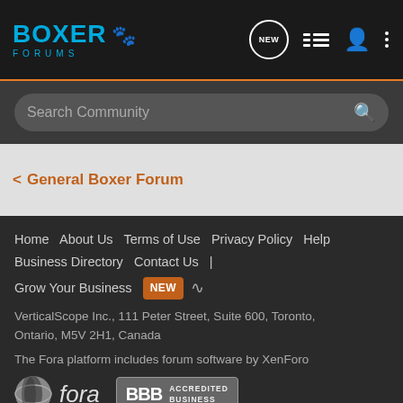[Figure (logo): Boxer Forums logo with paw print icon in blue, with navigation icons (NEW chat bubble, list, user, more) on the right]
Search Community
< General Boxer Forum
Home  About Us  Terms of Use  Privacy Policy  Help  Business Directory  Contact Us  |  Grow Your Business  NEW  (RSS icon)
VerticalScope Inc., 111 Peter Street, Suite 600, Toronto, Ontario, M5V 2H1, Canada
The Fora platform includes forum software by XenForo
[Figure (logo): Fora logo (stylized sphere icon with 'fora' italic text) and BBB Accredited Business badge]